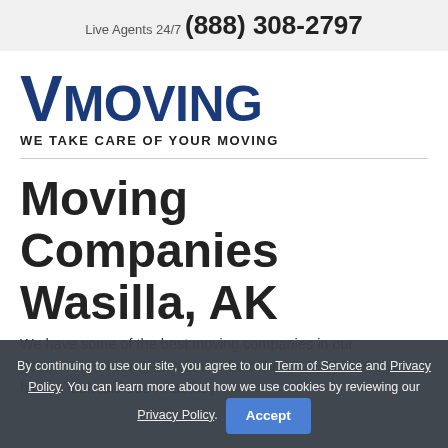Live Agents 24/7 (888) 308-2797
[Figure (logo): VMoving logo with large V and text MOVING in dark blue, tagline WE TAKE CARE OF YOUR MOVING below]
Moving Companies Wasilla, AK
We have some of the best moving companies in our perspective, moving companies from the USA. We invite you to have a look and see what they
By continuing to use our site, you agree to our Term of Service and Privacy Policy. You can learn more about how we use cookies by reviewing our Privacy Policy. Accept